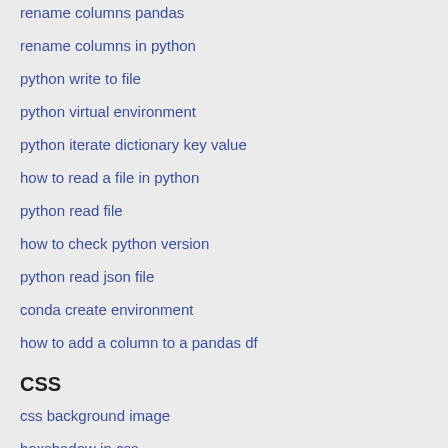rename columns pandas
rename columns in python
python write to file
python virtual environment
python iterate dictionary key value
how to read a file in python
python read file
how to check python version
python read json file
conda create environment
how to add a column to a pandas df
CSS
css background image
boxshadow in css